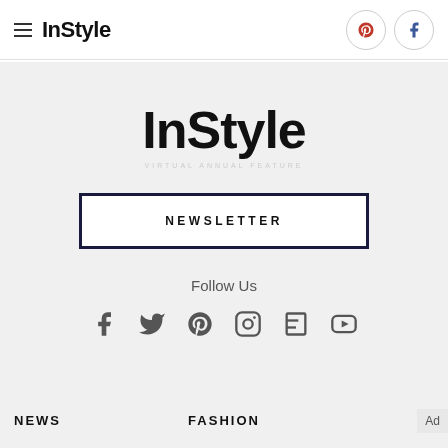InStyle
InStyle
NEWSLETTER
Follow Us
[Figure (infographic): Social media icons row: Facebook, Twitter, Pinterest, Instagram, Flipboard, YouTube]
NEWS
FASHION
Ad